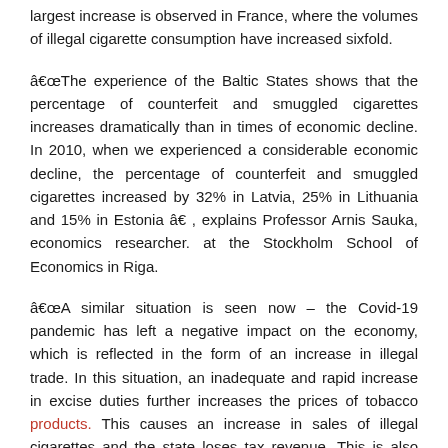largest increase is observed in France, where the volumes of illegal cigarette consumption have increased sixfold.
“The experience of the Baltic States shows that the percentage of counterfeit and smuggled cigarettes increases dramatically than in times of economic decline. In 2010, when we experienced a considerable economic decline, the percentage of counterfeit and smuggled cigarettes increased by 32% in Latvia, 25% in Lithuania and 15% in Estonia â, explains Professor Arnis Sauka, economics researcher. at the Stockholm School of Economics in Riga.
“A similar situation is seen now – the Covid-19 pandemic has left a negative impact on the economy, which is reflected in the form of an increase in illegal trade. In this situation, an inadequate and rapid increase in excise duties further increases the prices of tobacco products. This causes an increase in sales of illegal cigarettes and the state loses tax revenue. This is also what the KPMG study reveals. â explains Sauka.